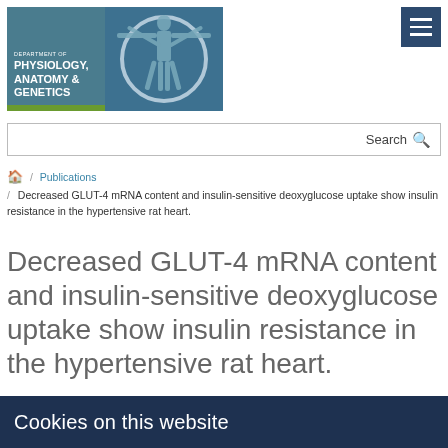[Figure (logo): Department of Physiology, Anatomy & Genetics logo with Vitruvian man illustration]
Search
🏠 / Publications / Decreased GLUT-4 mRNA content and insulin-sensitive deoxyglucose uptake show insulin resistance in the hypertensive rat heart.
Decreased GLUT-4 mRNA content and insulin-sensitive deoxyglucose uptake show insulin resistance in the hypertensive rat heart.
Paternostro G, Clarke K, Heath J, Seymour AM, Radda GK,
Cookies on this website